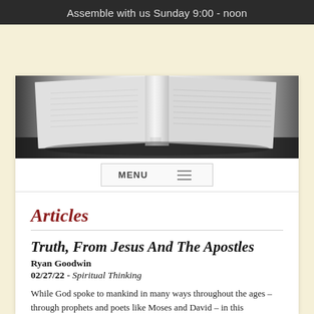Assemble with us Sunday 9:00 - noon
[Figure (photo): Black and white photo of an open Bible with pages fanned out]
MENU
Articles
Truth, From Jesus And The Apostles
Ryan Goodwin
02/27/22 - Spiritual Thinking
While God spoke to mankind in many ways throughout the ages – through prophets and poets like Moses and David – in this